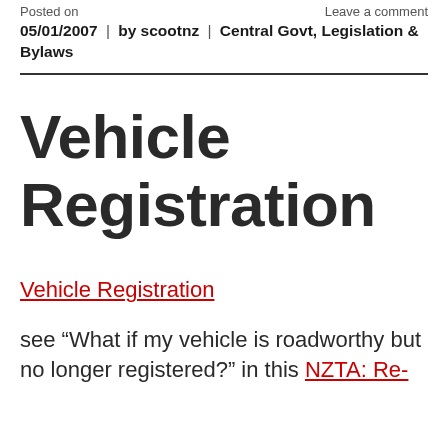Posted on | Leave a comment
05/01/2007 | by scootnz | Central Govt, Legislation & Bylaws
Vehicle Registration
Vehicle Registration
see “What if my vehicle is roadworthy but no longer registered?” in this NZTA: Re-